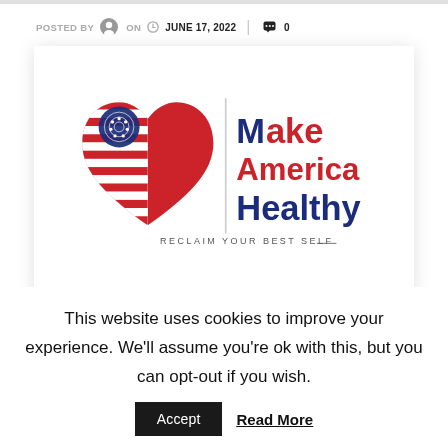POSTED BY  ON  JUNE 17, 2022  |  0
[Figure (logo): Make America Healthy logo — red, white, and blue heart shape with American flag stripes and stars on left side; text reads 'Make America Healthy' in navy and red with tagline 'RECLAIM YOUR BEST SELF' below]
This website uses cookies to improve your experience. We'll assume you're ok with this, but you can opt-out if you wish.
Accept   Read More